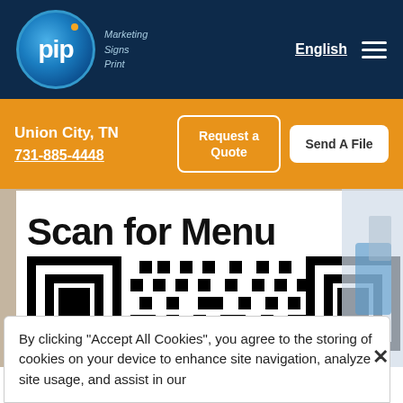[Figure (logo): PIP Marketing Signs Print logo in a blue circle with orange dot, on dark navy background with navigation showing English language selector and hamburger menu]
Union City, TN
731-885-4448
Request a Quote
Send A File
[Figure (photo): A printed sign reading 'Scan for Menu' with a large QR code below it, posted on a wall, with blurred office chairs visible in background]
By clicking “Accept All Cookies”, you agree to the storing of cookies on your device to enhance site navigation, analyze site usage, and assist in our